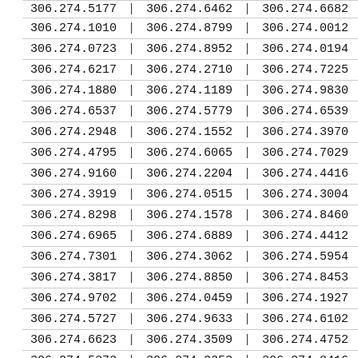| Col1 | Col2 | Col3 |
| --- | --- | --- |
| 306.274.5177 | 306.274.6462 | 306.274.6682 |
| 306.274.1010 | 306.274.8799 | 306.274.0012 |
| 306.274.0723 | 306.274.8952 | 306.274.0194 |
| 306.274.6217 | 306.274.2710 | 306.274.7225 |
| 306.274.1880 | 306.274.1189 | 306.274.9830 |
| 306.274.6537 | 306.274.5779 | 306.274.6539 |
| 306.274.2948 | 306.274.1552 | 306.274.3970 |
| 306.274.4795 | 306.274.6065 | 306.274.7029 |
| 306.274.9160 | 306.274.2204 | 306.274.4416 |
| 306.274.3919 | 306.274.0515 | 306.274.3004 |
| 306.274.8298 | 306.274.1578 | 306.274.8460 |
| 306.274.6965 | 306.274.6889 | 306.274.4412 |
| 306.274.7301 | 306.274.3062 | 306.274.5954 |
| 306.274.3817 | 306.274.8850 | 306.274.8453 |
| 306.274.9702 | 306.274.0459 | 306.274.1927 |
| 306.274.5727 | 306.274.9633 | 306.274.6102 |
| 306.274.6623 | 306.274.3509 | 306.274.4752 |
| 306.274.5373 | 306.274.2253 | 306.274.8416 |
| 306.274.0144 | 306.274.0047 | 306.274.5080 |